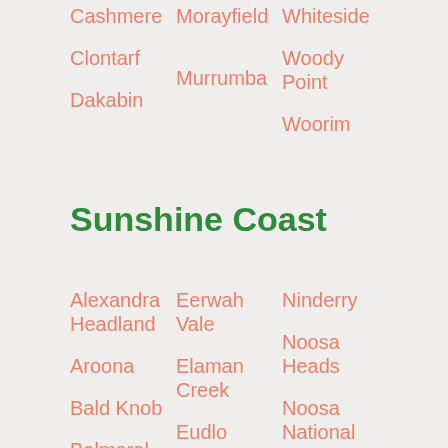Cashmere
Morayfield
Whiteside
Clontarf
Murrumba
Woody Point
Dakabin
Woorim
Sunshine Coast
Alexandra Headland
Eerwah Vale
Ninderry
Aroona
Elaman Creek
Noosa Heads
Bald Knob
Eudlo
Noosa National Park
Balmoral Ridge
Eumundi
Noosa North Shore
Battery Hill
Federal
Flaxton